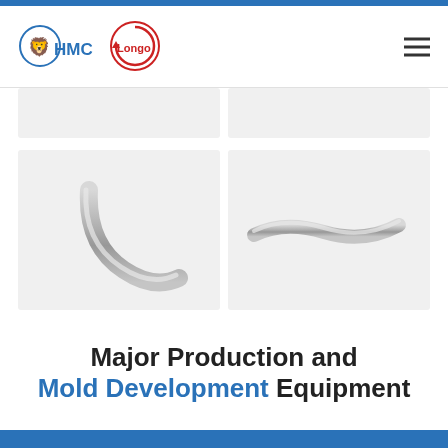HMC / Longo - Company website header with logos and navigation menu
[Figure (photo): Partial view of two gray metal pipe/tube bent components shown in product cards with light gray background (top row, cropped)]
[Figure (photo): Left product card showing a silver/gray bent metal pipe or exhaust tube component with a curved S-shape, on light gray background]
[Figure (photo): Right product card showing a silver/gray bent metal pipe or tube component with a shallow bend/curve, on light gray background]
Major Production and Mold Development Equipment